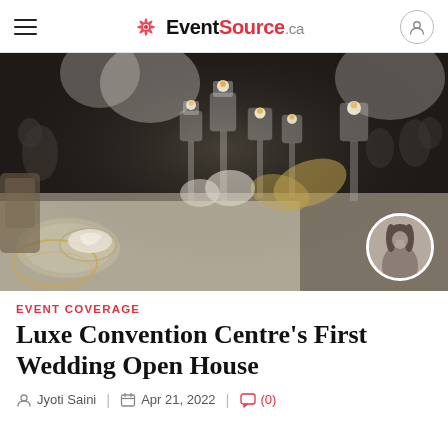EventSource.ca
[Figure (photo): Elegant wedding table centerpiece with tall glass candle holders, floating candles, white floral arrangements, and dried golden palm leaves in a dimly lit reception hall]
EVENT COVERAGE
Luxe Convention Centre’s First Wedding Open House
Jyoti Saini | Apr 21, 2022 | (0)